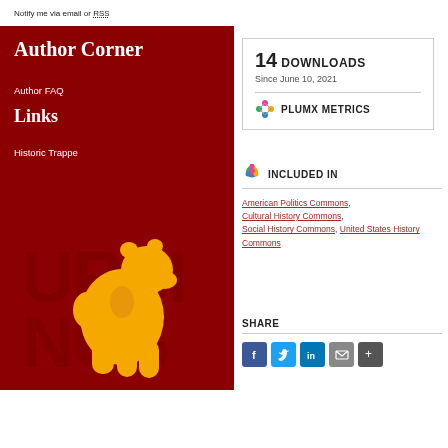Notify me via email or RSS
Author Corner
Author FAQ
Links
Historic Trappe
[Figure (logo): Ursinus College bear mascot logo in gold on dark red background with URSINUS text]
14 DOWNLOADS
Since June 10, 2021
PLUMX METRICS
INCLUDED IN
American Politics Commons, Cultural History Commons, Social History Commons, United States History Commons
SHARE